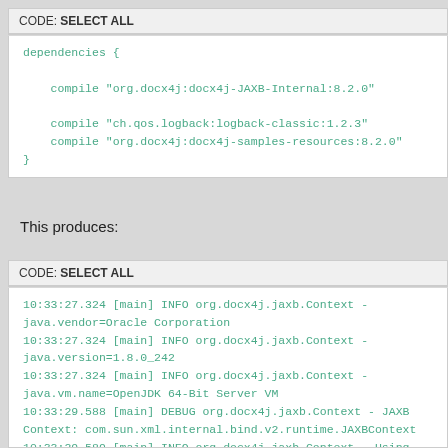CODE: SELECT ALL
dependencies {

    compile "org.docx4j:docx4j-JAXB-Internal:8.2.0"

    compile "ch.qos.logback:logback-classic:1.2.3"
    compile "org.docx4j:docx4j-samples-resources:8.2.0"
}
This produces:
CODE: SELECT ALL
10:33:27.324 [main] INFO org.docx4j.jaxb.Context -
java.vendor=Oracle Corporation
10:33:27.324 [main] INFO org.docx4j.jaxb.Context -
java.version=1.8.0_242
10:33:27.324 [main] INFO org.docx4j.jaxb.Context -
java.vm.name=OpenJDK 64-Bit Server VM
10:33:29.588 [main] DEBUG org.docx4j.jaxb.Context - JAXB
Context: com.sun.xml.internal.bind.v2.runtime.JAXBContext
10:33:29.589 [main] INFO org.docx4j.jaxb.Context - Using .
6+ JAXB implementation